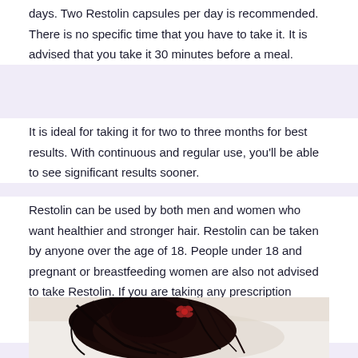days. Two Restolin capsules per day is recommended. There is no specific time that you have to take it. It is advised that you take it 30 minutes before a meal.
It is ideal for taking it for two to three months for best results. With continuous and regular use, you'll be able to see significant results sooner.
Restolin can be used by both men and women who want healthier and stronger hair. Restolin can be taken by anyone over the age of 18. People under 18 and pregnant or breastfeeding women are also not advised to take Restolin. If you are taking any prescription medication or have a medical condition, consult your doctor before you take Restolin.
[Figure (photo): A woman with dark hair styled in a bun with a red flower accessory, lying on white fabric]